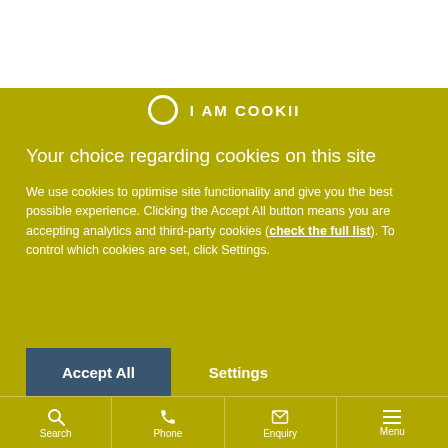[Figure (screenshot): Cookie consent overlay on a website. Olive/yellow-green background with white text. Contains a title, body text with a link, Accept All button and Settings button, and a bottom navigation bar with Search, Phone, Enquiry, and Menu icons.]
Your choice regarding cookies on this site
We use cookies to optimise site functionality and give you the best possible experience. Clicking the Accept All button means you are accepting analytics and third-party cookies (check the full list). To control which cookies are set, click Settings.
Accept All
Settings
Search  Phone  Enquiry  Menu